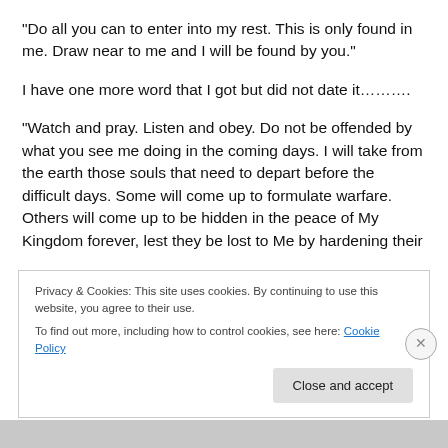"Do all you can to enter into my rest. This is only found in me. Draw near to me and I will be found by you."
I have one more word that I got but did not date it………..
“Watch and pray. Listen and obey. Do not be offended by what you see me doing in the coming days. I will take from the earth those souls that need to depart before the difficult days. Some will come up to formulate warfare. Others will come up to be hidden in the peace of My Kingdom forever, lest they be lost to Me by hardening their
Privacy & Cookies: This site uses cookies. By continuing to use this website, you agree to their use.
To find out more, including how to control cookies, see here: Cookie Policy
Close and accept